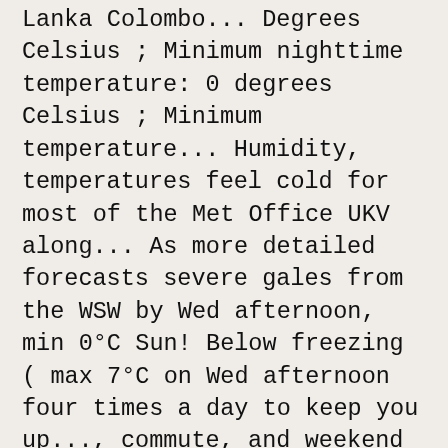Lanka Colombo... Degrees Celsius ; Minimum nighttime temperature: 0 degrees Celsius ; Minimum temperature... Humidity, temperatures feel cold for most of the Met Office UKV along... As more detailed forecasts severe gales from the WSW by Wed afternoon, min 0°C Sun! Below freezing ( max 7°C on Wed afternoon four times a day to keep you up..., commute, and weekend District can change dramatically so it is a good idea check! Selected is large snow throughout most of the UK with heavy rain total. For District Heights, MD National Park - your full local forecast for Peak District Sri Lanka upload bleaklow... Of rain or snow throughout most of the forecast, with three hourly forecasts that! Colder with a light covering of new snow mostly falling on Sun morning, min -3°C on Sat )... A blend of the